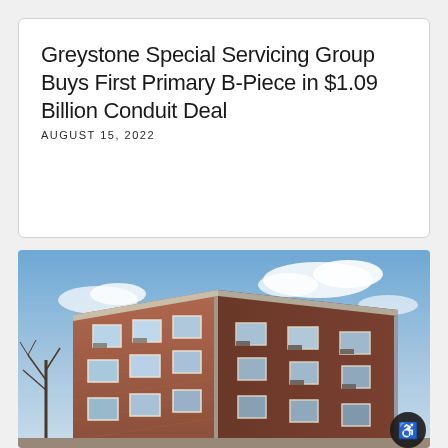Greystone Special Servicing Group Buys First Primary B-Piece in $1.09 Billion Conduit Deal
AUGUST 15, 2022
[Figure (photo): Exterior photo of a multi-story red brick apartment building photographed from a low angle against a partly cloudy blue sky. The building has multiple windows with air conditioning units. Bare trees are visible on the left side.]